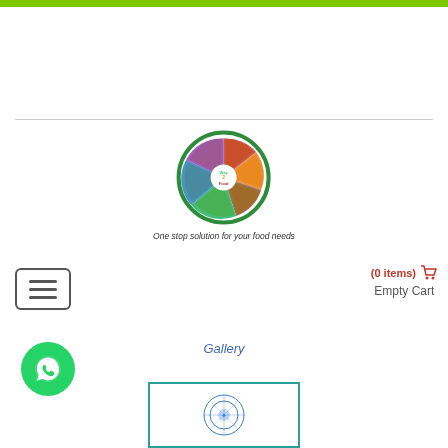[Figure (logo): Green horizontal bar at top of page]
[Figure (logo): Way2Food circular logo with food sections and tagline 'One stop solution for your food needs']
[Figure (other): Hamburger menu button (three horizontal lines in rounded rectangle)]
(0 items)  Empty Cart
[Figure (other): WhatsApp circular green button with speech bubble icon]
Gallery
[Figure (other): Gallery thumbnail box with decorative emblem]